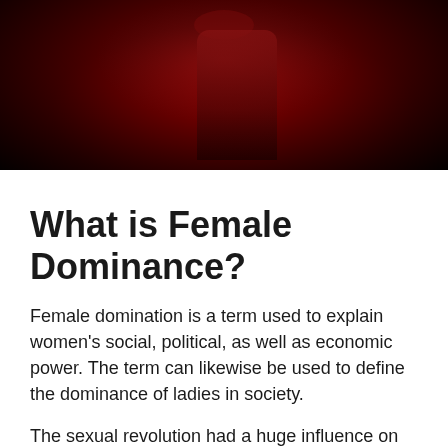[Figure (photo): Dark red-toned photograph of a figure, mostly obscured in shadow with deep crimson lighting.]
What is Female Dominance?
Female domination is a term used to explain women's social, political, as well as economic power. The term can likewise be used to define the dominance of ladies in society.
The sexual revolution had a huge influence on society, as well as it was largely led by females. Ladies were able to get power with their sexuality, and they were permitted to